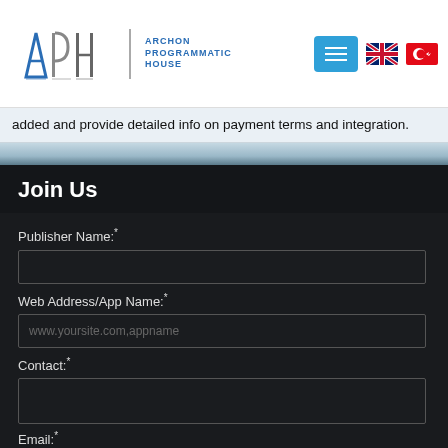APH ARCHON PROGRAMMATIC HOUSE - navigation header
added and provide detailed info on payment terms and integration.
Join Us
Publisher Name: *
Web Address/App Name: *
www.yoursite.com,appname
Contact: *
Email *
Join Us